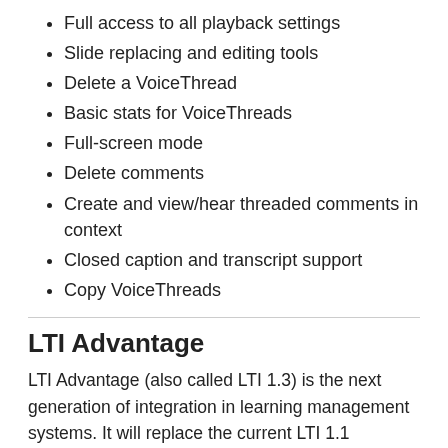Full access to all playback settings
Slide replacing and editing tools
Delete a VoiceThread
Basic stats for VoiceThreads
Full-screen mode
Delete comments
Create and view/hear threaded comments in context
Closed caption and transcript support
Copy VoiceThreads
LTI Advantage
LTI Advantage (also called LTI 1.3) is the next generation of integration in learning management systems. It will replace the current LTI 1.1 eventually, and it is a great foundation on which the standard can continue to evolve. VoiceThread has full support for LTI 1.3, and a number of institutions are using this already. Our implementation